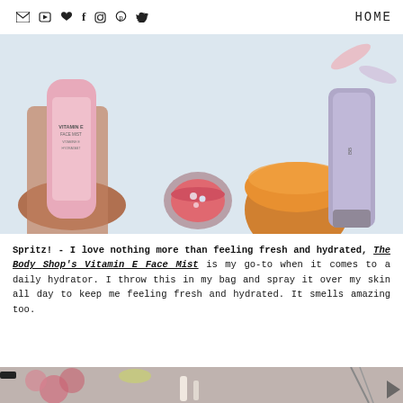HOME
[Figure (photo): Flat-lay photo of beauty products on a white surface: a hand holding a pink The Body Shop Vitamin E Face Mist bottle, a small pink lip balm tin, an orange jar, and a purple/lavender tube.]
Spritz! - I love nothing more than feeling fresh and hydrated, The Body Shop's Vitamin E Face Mist is my go-to when it comes to a daily hydrator. I throw this in my bag and spray it over my skin all day to keep me feeling fresh and hydrated. It smells amazing too.
[Figure (photo): Partial photo at the bottom showing beauty/makeup items including flowers and tweezers on a light surface.]